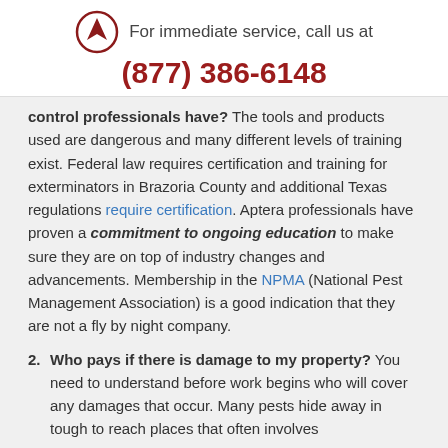For immediate service, call us at (877) 386-6148
control professionals have? The tools and products used are dangerous and many different levels of training exist. Federal law requires certification and training for exterminators in Brazoria County and additional Texas regulations require certification. Aptera professionals have proven a commitment to ongoing education to make sure they are on top of industry changes and advancements. Membership in the NPMA (National Pest Management Association) is a good indication that they are not a fly by night company.
2. Who pays if there is damage to my property? You need to understand before work begins who will cover any damages that occur. Many pests hide away in tough to reach places that often involves